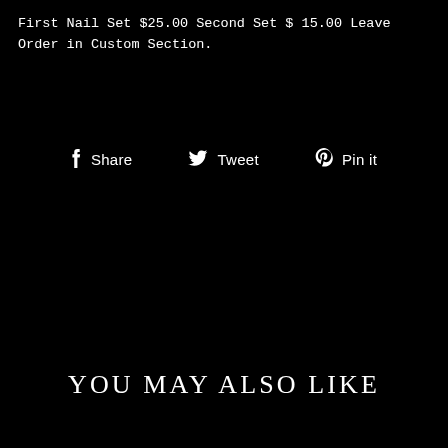First Nail Set $25.00 Second Set $ 15.00 Leave Order in Custom Section.
Share  Tweet  Pin it
YOU MAY ALSO LIKE